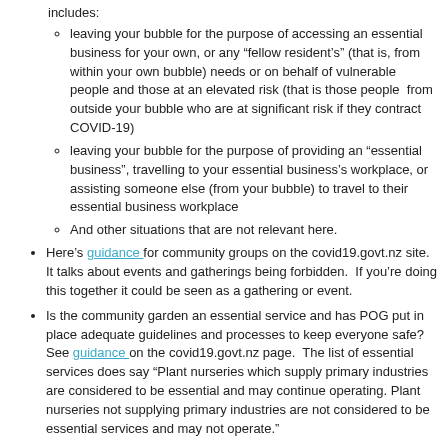includes:
leaving your bubble for the purpose of accessing an essential business for your own, or any “fellow resident’s” (that is, from within your own bubble) needs or on behalf of vulnerable people and those at an elevated risk (that is those people from outside your bubble who are at significant risk if they contract COVID-19)
leaving your bubble for the purpose of providing an “essential business”, travelling to your essential business’s workplace, or assisting someone else (from your bubble) to travel to their essential business workplace
And other situations that are not relevant here.
Here’s guidance for community groups on the covid19.govt.nz site. It talks about events and gatherings being forbidden. If you’re doing this together it could be seen as a gathering or event.
Is the community garden an essential service and has POG put in place adequate guidelines and processes to keep everyone safe? See guidance on the covid19.govt.nz page. The list of essential services does say “Plant nurseries which supply primary industries are considered to be essential and may continue operating. Plant nurseries not supplying primary industries are not considered to be essential services and may not operate.”
Our advice is to seek further guidance. Here’s what the